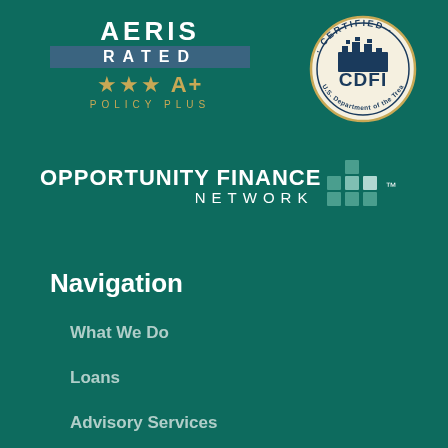[Figure (logo): AERIS RATED ★★★ A+ POLICY PLUS badge with dark teal and gold colors]
[Figure (logo): CDFI Certified seal from U.S. Department of the Treasury, circular emblem in gold/cream]
[Figure (logo): Opportunity Finance Network logo with bar chart icon]
Navigation
What We Do
Loans
Advisory Services
For Lending Partners